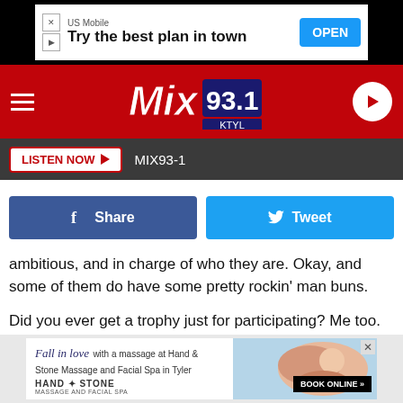[Figure (screenshot): US Mobile advertisement banner: 'Try the best plan in town' with OPEN button]
[Figure (logo): Mix 93.1 KTYL radio station header with hamburger menu and play button]
[Figure (screenshot): Listen Now button bar with MIX93-1 station label]
[Figure (screenshot): Facebook Share and Twitter Tweet social buttons]
ambitious, and in charge of who they are.  Okay, and some of them do have some pretty rockin' man buns.
Did you ever get a trophy just for participating?  Me too.  And never took it too seriously because it said "participation" right on there, and I knew it didn't make me a champ. Kids are wise.
[Figure (screenshot): Fall in love with a massage at Hand & Stone Massage and Facial Spa in Tyler advertisement with BOOK ONLINE button]